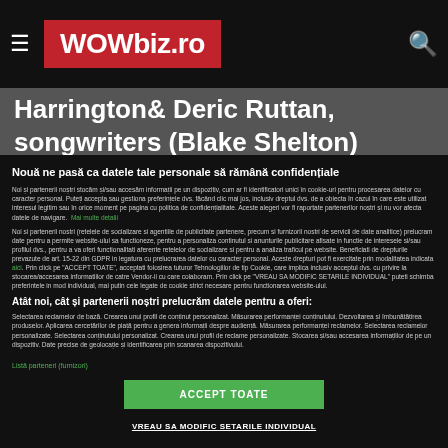WOWbiz.ro
Harrington& Deric Ruttan, songwriters (Blake Shelton)
Nouă ne pasă ca datele tale personale să rămână confidențiale
Noi și partenerii noștri stocăm și/sau accesăm informații pe un dispozitiv, cum ar fi identificatori unici în cookie-uri pentru procesarea datelor cu caracter personal. Puteți accepta sau gestiona preferințele dvs. făcând clic mai jos, inclusiv dreptul dvs. de a obiecta în cazul în care este utilizat interesul legitim sau în orice moment pe pagina cu politica de confidențialitate. Aceste alegeri vor fi raportate partenerilor noștri și nu vor afecta datele de navigare. Mai multe detalii
Noi si partenerii nostri (retelele de socializare si agentiile de publicitate partenere, precum si furnizorii nostri de servicii de date analitice) prelucram date pentru a permite website-ului sa functioneze, pentru a personaliza continutul si anunturile publicitare afisate in functie de interesele si/sau profilul dvs., pentru a va oferi functionalitati aferente retelelor de socializare si pentru a analiza traficul pe website. Beneficiati de drepturile prevazute de art. 15-22 din GDPR in legatura cu prelucrarea datelor cu caracter personal. Aceste drepturi pot fi exercitate prin modalitatea indicata aici. Prin click pe "ACCEPT TOATE", acceptati folosirea tuturor Tehnologiilor de tip Cookie, care implica inclusiv acceptul dvs. cu privire la stocarea/accesarea informatiilor de catre Vendor-ii cu care colaboram. Prin click pe "VREAU SA MODIFIC SETARILE INDIVIDUAL" puteti schimba preferintele in mod individual, mai putin cele legate de cookie strict necesare pentru functionarea website-ului.
Atât noi, cât și partenerii noștri prelucrăm datele pentru a oferi:
Selectarea reclamelor de bază. Crearea unui profil de conținut personalizat. Măsurarea performanței conținutului. Dezvoltarea și îmbunătățirea produselor. Aplicarea cercetărilor de piață pentru a genera informații despre audiență. Măsurarea performanței reclamelor. Selectarea reclamelor personalizate. Selectarea conținutului personalizat. Crearea unui profil de reclame personalizate. Stocarea și/sau accesarea informațiilor de pe un dispozitiv. Date precise de geolocație și identificarea prin scanarea dispozitivului.
Listă parteneri (furnizori)
ACCEPT TOATE
VREAU SA MODIFIC SETARILE INDIVIDUAL